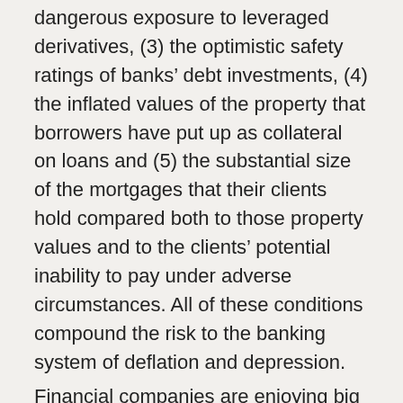dangerous exposure to leveraged derivatives, (3) the optimistic safety ratings of banks' debt investments, (4) the inflated values of the property that borrowers have put up as collateral on loans and (5) the substantial size of the mortgages that their clients hold compared both to those property values and to the clients' potential inability to pay under adverse circumstances. All of these conditions compound the risk to the banking system of deflation and depression.
Financial companies are enjoying big advances in the current stock market rally. Depositors today trust their banks more than they trust government or business in general. For example, a recent poll asked web surfers which among a list of seven types of institutions they would most trust to operate a secure identity service. Banks got nearly 50 percent of the